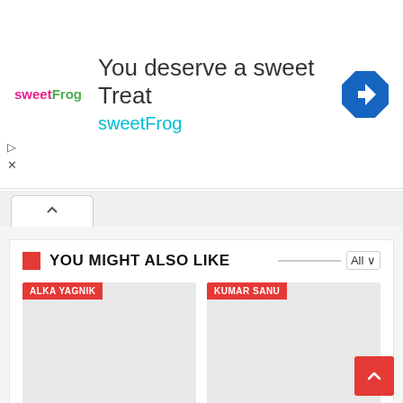[Figure (screenshot): Advertisement banner for sweetFrog frozen yogurt. Shows sweetFrog logo on left, headline 'You deserve a sweet Treat' and 'sweetFrog' in teal, and a blue diamond navigation icon on right.]
YOU MIGHT ALSO LIKE
[Figure (screenshot): Card image placeholder with red tag 'ALKA YAGNIK' for Mirchi Lagi Toh song lyrics]
Mirchi Lagi Toh मिर्चीं लगी तो Song Lyrics – Coolie No. 1
[Figure (screenshot): Card image placeholder with red tag 'KUMAR SANU' for Aankh Marey song lyrics]
आँख मारे Aankh Marey Song Lyrics